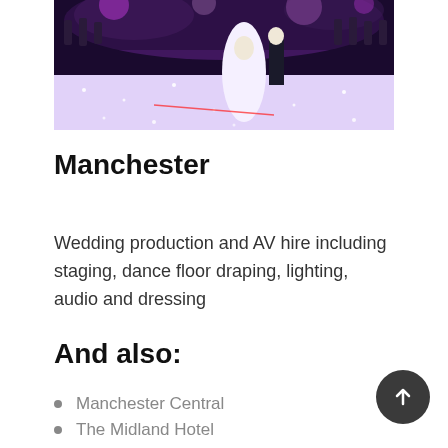[Figure (photo): Wedding couple dancing on a sparkly illuminated dance floor at a reception event with purple/pink lighting and audience in background]
Manchester
Wedding production and AV hire including staging, dance floor draping, lighting, audio and dressing
And also:
Manchester Central
The Midland Hotel